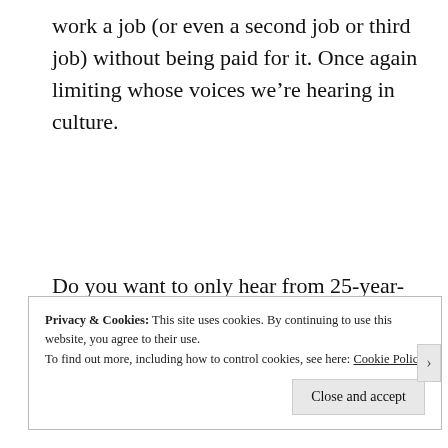work a job (or even a second job or third job) without being paid for it. Once again limiting whose voices we're hearing in culture.
Do you want to only hear from 25-year-old rich kids? Yeah, me neither.
Privacy & Cookies: This site uses cookies. By continuing to use this website, you agree to their use.
To find out more, including how to control cookies, see here: Cookie Policy

Close and accept